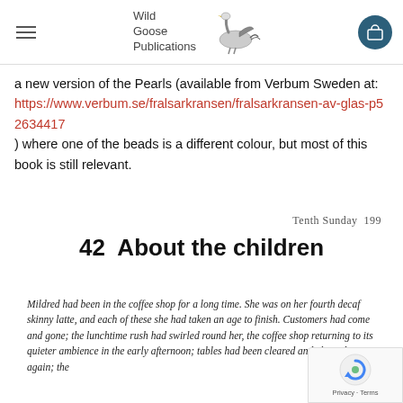Wild Goose Publications [navigation header with logo and cart]
a new version of the Pearls (available from Verbum Sweden at: https://www.verbum.se/fralsarkransen/fralsarkransen-av-glas-p52634417 ) where one of the beads is a different colour, but most of this book is still relevant.
Tenth Sunday  199
42  About the children
Mildred had been in the coffee shop for a long time. She was on her fourth decaf skinny latte, and each of these she had taken an age to finish. Customers had come and gone; the lunchtime rush had swirled round her, the coffee shop returning to its quieter ambience in the early afternoon; tables had been cleared and cleared again; the